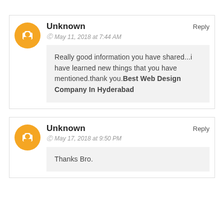Unknown
© May 11, 2018 at 7:44 AM
Reply
Really good information you have shared...i have learned new things that you have mentioned.thank you.Best Web Design Company In Hyderabad
Unknown
© May 17, 2018 at 9:50 PM
Reply
Thanks Bro.